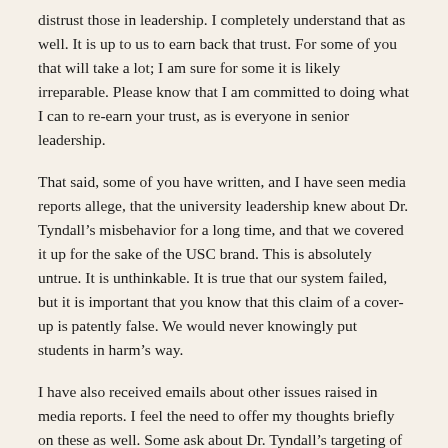distrust those in leadership. I completely understand that as well. It is up to us to earn back that trust. For some of you that will take a lot; I am sure for some it is likely irreparable. Please know that I am committed to doing what I can to re-earn your trust, as is everyone in senior leadership.
That said, some of you have written, and I have seen media reports allege, that the university leadership knew about Dr. Tyndall’s misbehavior for a long time, and that we covered it up for the sake of the USC brand. This is absolutely untrue. It is unthinkable. It is true that our system failed, but it is important that you know that this claim of a cover-up is patently false. We would never knowingly put students in harm’s way.
I have also received emails about other issues raised in media reports. I feel the need to offer my thoughts briefly on these as well. Some ask about Dr. Tyndall’s targeting of Chinese (and other international) students. Although this was alleged, there is no evidence that any one group of students was affected more than others. We are carefully reviewing all complaints and have yet to find a pattern in who was affected. Others ask about why we would have entered into a settlement agreement with Dr. Tyndall in 2017. While it is difficult to accept, as settlements never sound appropriate, the reality is, given